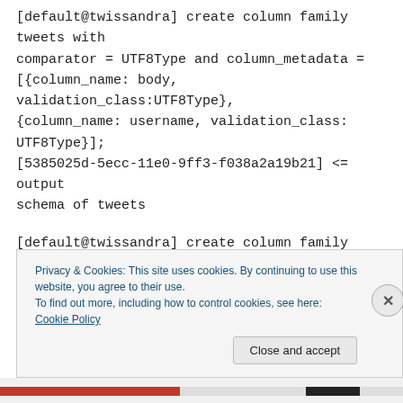[default@twissandra] create column family tweets with comparator = UTF8Type and column_metadata = [{column_name: body, validation_class:UTF8Type}, {column_name: username, validation_class: UTF8Type}]; [5385025d-5ecc-11e0-9ff3-f038a2a19b21] <= output schema of tweets
[default@twissandra] create column family friends with comparator = UTF8Type; [61c0f5ee-5ecc-11e0-9ff3-f038a2a19b21]<= output
Privacy & Cookies: This site uses cookies. By continuing to use this website, you agree to their use.
To find out more, including how to control cookies, see here: Cookie Policy